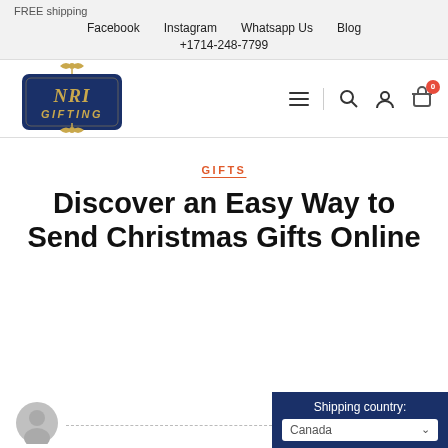FREE shipping
Facebook   Instagram   Whatsapp Us   Blog
+1714-248-7799
[Figure (logo): NRI Gifting logo — dark navy blue rounded rectangle with gold italic text 'NRI GIFTING' and decorative bow/ribbon]
GIFTS
Discover an Easy Way to Send Christmas Gifts Online